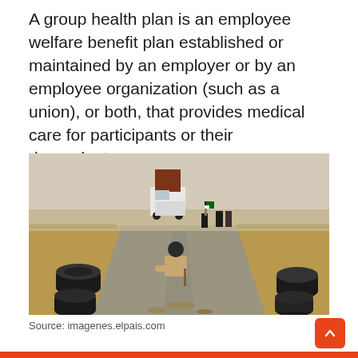A group health plan is an employee welfare benefit plan established or maintained by an employer or by an employee organization (such as a union), or both, that provides medical care for participants or their dependents.
[Figure (photo): Outdoor scene on a desert road. A person sits on tires in the foreground center. A large truck is visible in the background center-left. Several people stand on the road holding a flag. Tires are scattered on the sides of the road. Arid desert landscape surrounds the road.]
Source: imagenes.elpais.com